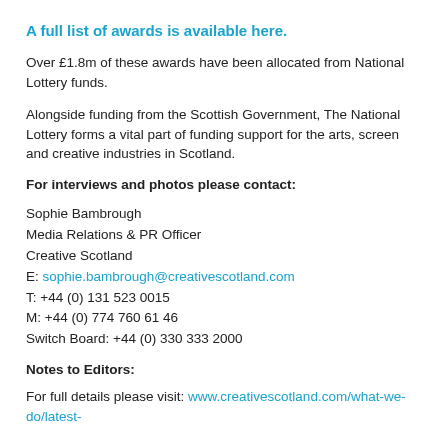A full list of awards is available here.
Over £1.8m of these awards have been allocated from National Lottery funds.
Alongside funding from the Scottish Government, The National Lottery forms a vital part of funding support for the arts, screen and creative industries in Scotland.
For interviews and photos please contact:
Sophie Bambrough
Media Relations & PR Officer
Creative Scotland
E: sophie.bambrough@creativescotland.com
T: +44 (0) 131 523 0015
M: +44 (0) 774 760 61 46
Switch Board: +44 (0) 330 333 2000
Notes to Editors:
For full details please visit: www.creativescotland.com/what-we-do/latest-